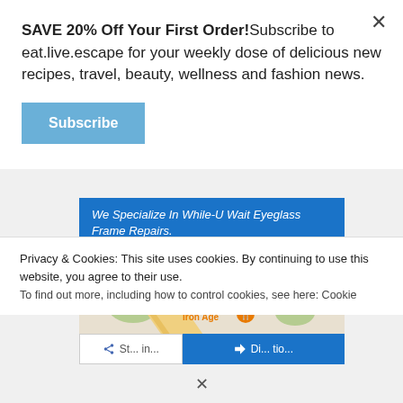SAVE 20% Off Your First Order!Subscribe to eat.live.escape for your weekly dose of delicious new recipes, travel, beauty, wellness and fashion news.
Subscribe
[Figure (screenshot): Google Maps embed showing a business location with blue header text 'We Specialize In While-U Wait Eyeglass Frame Repairs.' and a map with a red location pin and Iron Age restaurant marker visible]
Privacy & Cookies: This site uses cookies. By continuing to use this website, you agree to their use.
To find out more, including how to control cookies, see here: Cookie